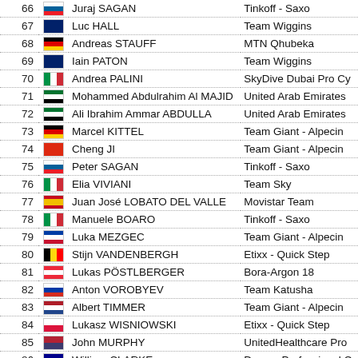| # | Flag | Name | Team |
| --- | --- | --- | --- |
| 66 |  | Juraj SAGAN | Tinkoff - Saxo |
| 67 |  | Luc HALL | Team Wiggins |
| 68 |  | Andreas STAUFF | MTN Qhubeka |
| 69 |  | Iain PATON | Team Wiggins |
| 70 |  | Andrea PALINI | SkyDive Dubai Pro Cy |
| 71 |  | Mohammed Abdulrahim Al MAJID | United Arab Emirates |
| 72 |  | Ali Ibrahim Ammar ABDULLA | United Arab Emirates |
| 73 |  | Marcel KITTEL | Team Giant - Alpecin |
| 74 |  | Cheng JI | Team Giant - Alpecin |
| 75 |  | Peter SAGAN | Tinkoff - Saxo |
| 76 |  | Elia VIVIANI | Team Sky |
| 77 |  | Juan José LOBATO DEL VALLE | Movistar Team |
| 78 |  | Manuele BOARO | Tinkoff - Saxo |
| 79 |  | Luka MEZGEC | Team Giant - Alpecin |
| 80 |  | Stijn VANDENBERGH | Etixx - Quick Step |
| 81 |  | Lukas PÖSTLBERGER | Bora-Argon 18 |
| 82 |  | Anton VOROBYEV | Team Katusha |
| 83 |  | Albert TIMMER | Team Giant - Alpecin |
| 84 |  | Lukasz WISNIOWSKI | Etixx - Quick Step |
| 85 |  | John MURPHY | UnitedHealthcare Pro |
| 86 |  | William CLARKE | Drapac Professional C |
| 87 |  | Alessandro RAZZANA | UnitedHealthcare Pro |